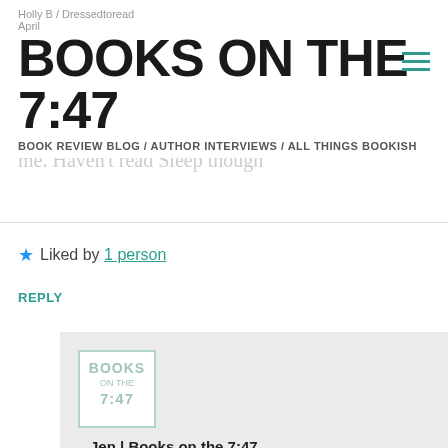Holly B / Dressedtoread
April …
BOOKS ON THE 7:47
BOOK REVIEW BLOG / AUTHOR INTERVIEWS / ALL THINGS BOOKISH
Loved One We Open Air from just. Riveted. All the other. Both Little Darlings was a five star for me. Haven't read Sleep though
Liked by 1 person
REPLY
[Figure (logo): Books on the 7:47 blog logo — teal bordered square with text BOOKS ON THE 7:47]
Jen | Books on the 7:47
April 11, 2019 at 5:50 pm

We have v. similar reading tastes! Hope Sleep is as good as the other two!